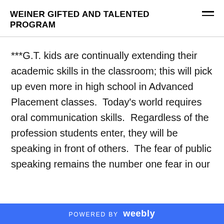WEINER GIFTED AND TALENTED PROGRAM
***G.T. kids are continually extending their academic skills in the classroom; this will pick up even more in high school in Advanced Placement classes.  Today's world requires oral communication skills.  Regardless of the profession students enter, they will be speaking in front of others.  The fear of public speaking remains the number one fear in our
POWERED BY weebly